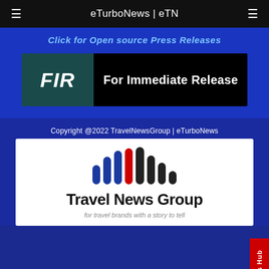eTurboNews | eTN
Click for Open source Press Releases
[Figure (logo): FIR - For Immediate Release banner with teal left panel showing italic FIR text and black right panel showing 'For Immediate Release']
Copyright @2022 TravelNewsGroup | eTurboNews
[Figure (logo): Travel News Group logo with colored vertical bars (blue, red, black) and text 'Travel News Group' with tagline 'for travel brands with a story to tell']